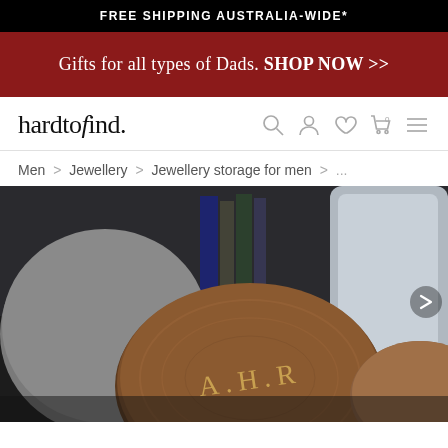FREE SHIPPING AUSTRALIA-WIDE*
Gifts for all types of Dads. SHOP NOW >>
hardtofind.
Men > Jewellery > Jewellery storage for men > ...
[Figure (photo): Close-up product photo of a round wooden jewellery box with monogram 'A.H.R' engraved in gold lettering, surrounded by grey and leather accessories on a dark background. A right-arrow chevron navigation button is visible on the right edge.]